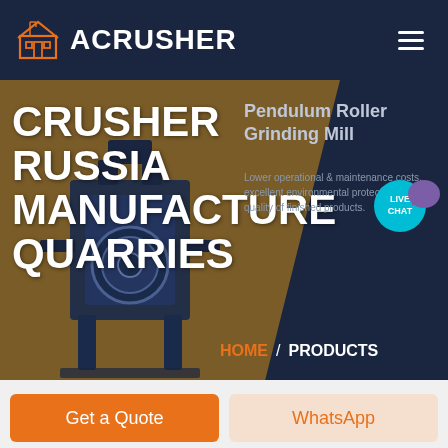ACRUSHER
CRUSHER RUSSIA MANUFACTURE QUARRIES
Pendulum Roller Grinding Mill
Lower operational & maintenance costs, excellent environmental protection, better quality of finished products.
HOME / PRODUCTS
Get a Quote
WhatsApp